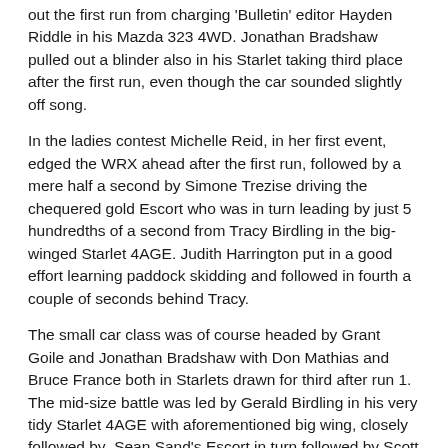out the first run from charging 'Bulletin' editor Hayden Riddle in his Mazda 323 4WD. Jonathan Bradshaw pulled out a blinder also in his Starlet taking third place after the first run, even though the car sounded slightly off song.
In the ladies contest Michelle Reid, in her first event, edged the WRX ahead after the first run, followed by a mere half a second by Simone Trezise driving the chequered gold Escort who was in turn leading by just 5 hundredths of a second from Tracy Birdling in the big-winged Starlet 4AGE. Judith Harrington put in a good effort learning paddock skidding and followed in fourth a couple of seconds behind Tracy.
The small car class was of course headed by Grant Goile and Jonathan Bradshaw with Don Mathias and Bruce France both in Starlets drawn for third after run 1. The mid-size battle was led by Gerald Birdling in his very tidy Starlet 4AGE with aforementioned big wing, closely followed by Sean Sand's Escort in turn followed by Scott Reid in his Escort Mk2. In the big 2WD class Brent McAllister's Escort led Brian Chang's Holden Ute off-roader (Brian was using the event to get used to the new gear shift system in the ute, which had a tad much ground clearance for this event!), followed in third by Brent Sibley in the newly repaired Escort after the accident at Mt